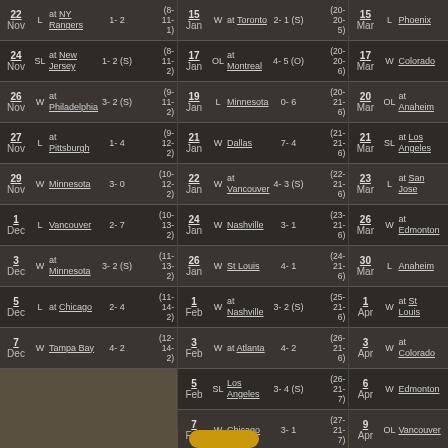| Date | W/L | Opponent | Score | Record |
| --- | --- | --- | --- | --- |
| 22 Nov | L | at NY Rangers | 1-2 | (8-11-1) |
| 24 Nov | SL | at New Jersey | 1-2 (S) | (8-11-2) |
| 26 Nov | W | at Philadelphia | 3-2 (S) | (9-11-2) |
| 27 Nov | L | at Pittsburgh | 1-4 | (9-12-2) |
| 29 Nov | W | Minnesota | 3-0 | (10-12-2) |
| 1 Dec | L | Vancouver | 2-7 | (10-13-2) |
| 3 Dec | W | at Minnesota | 3-2 (S) | (11-13-2) |
| 5 Dec | L | at Chicago | 2-4 | (11-14-2) |
| 7 Dec | W | Tampa Bay | 4-2 | (12-14-2) |
| Date | W/L | Opponent | Score | Record |
| --- | --- | --- | --- | --- |
| 15 Jan | W | at Toronto | 2-1 (S) | (20-20-5) |
| 17 Jan | OL | at Montreal | 4-5 (O) | (20-20-6) |
| 19 Jan | L | Minnesota | 0-6 | (20-21-6) |
| 21 Jan | W | Dallas | 7-4 | (21-21-6) |
| 22 Jan | W | at Vancouver | 4-3 (S) | (22-21-6) |
| 24 Jan | W | Nashville | 3-1 | (23-21-6) |
| 26 Jan | W | St Louis | 4-1 | (24-21-6) |
| 1 Feb | W | at Nashville | 3-2 (S) | (25-21-6) |
| 3 Feb | W | at Atlanta | 4-2 | (26-21-6) |
| 5 Feb | SL | Los Angeles | 3-4 (S) | (26-21-7) |
| 7 Feb | W | Chicago | 3-1 | (27-21-7) |
| Date | W/L | Opponent | Score | Record |
| --- | --- | --- | --- | --- |
| 15 Mar | L | Phoenix |  |  |
| 17 Mar | W | Colorado |  |  |
| 20 Mar | OL | at Anaheim |  |  |
| 21 Mar | SL | at Los Angeles |  |  |
| 23 Mar | L | at San Jose |  |  |
| 26 Mar | W | at Edmonton |  |  |
| 30 Mar | L | Anaheim |  |  |
| 1 Apr | W | at St Louis |  |  |
| 3 Apr | W | at Colorado |  |  |
| 6 Apr | W | Edmonton |  |  |
| 9 Apr | OL | Vancouver |  |  |